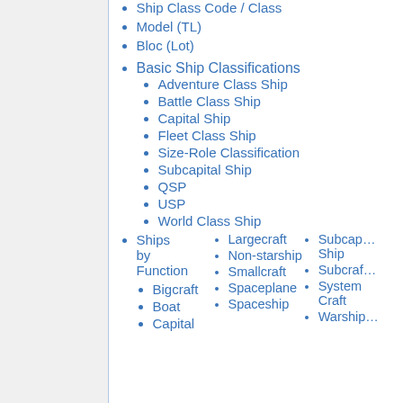Ship Class Code / Class
Model (TL)
Bloc (Lot)
Basic Ship Classifications
Adventure Class Ship
Battle Class Ship
Capital Ship
Fleet Class Ship
Size-Role Classification
Subcapital Ship
QSP
USP
World Class Ship
Ships by Function
Bigcraft
Boat
Capital
Largecraft
Non-starship
Smallcraft
Spaceplane
Spaceship
Subcapital Ship
Subcraft
System Craft
Warship